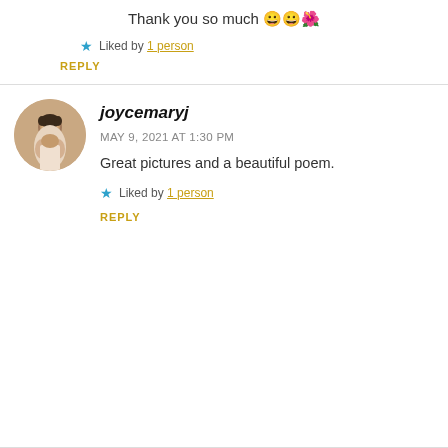Thank you so much 😀😀🌺
★ Liked by 1 person
REPLY
[Figure (photo): Circular avatar photo of joycemaryj, a woman with dark hair]
joycemaryj
MAY 9, 2021 AT 1:30 PM
Great pictures and a beautiful poem.
★ Liked by 1 person
REPLY